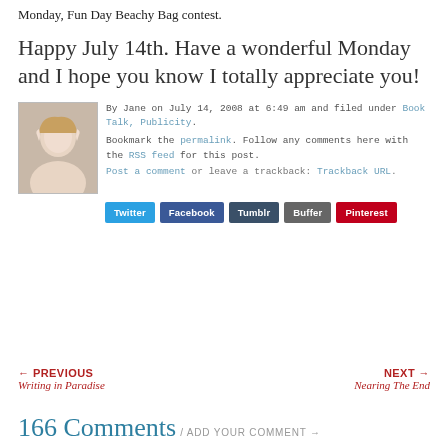Monday, Fun Day Beachy Bag contest.
Happy July 14th. Have a wonderful Monday and I hope you know I totally appreciate you!
By Jane on July 14, 2008 at 6:49 am and filed under Book Talk, Publicity.
Bookmark the permalink. Follow any comments here with the RSS feed for this post.
Post a comment or leave a trackback: Trackback URL.
Twitter  Facebook  Tumblr  Buffer  Pinterest
← PREVIOUS
Writing in Paradise
NEXT →
Nearing The End
166 Comments / ADD YOUR COMMENT →